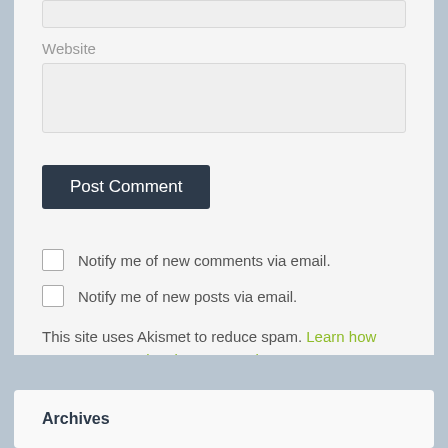Website
Post Comment
Notify me of new comments via email.
Notify me of new posts via email.
This site uses Akismet to reduce spam. Learn how your comment data is processed.
Archives